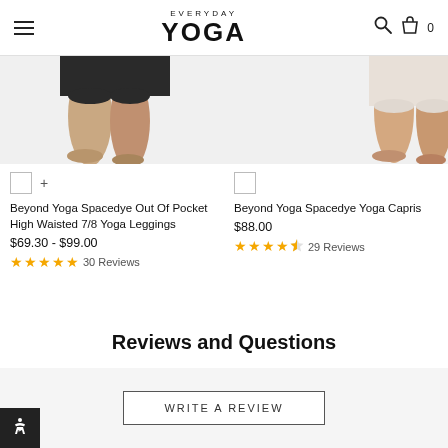EVERYDAY YOGA
[Figure (photo): Cropped photo of legs wearing dark yoga leggings, feet bare on light background]
[Figure (photo): Cropped photo of bare legs/feet on light background, partial view of yoga capris]
Beyond Yoga Spacedye Out Of Pocket High Waisted 7/8 Yoga Leggings
$69.30 - $99.00
★★★★★ 30 Reviews
Beyond Yoga Spacedye Yoga Capris
$88.00
★★★★½ 29 Reviews
Reviews and Questions
WRITE A REVIEW